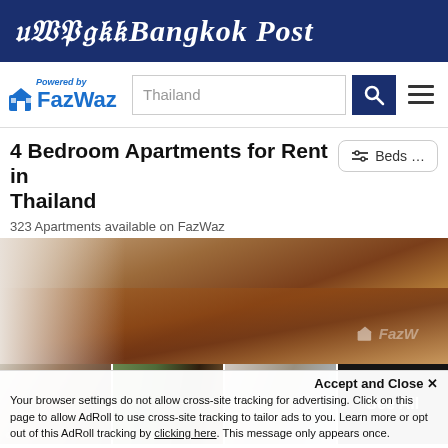Bangkok Post
[Figure (screenshot): FazWaz logo with 'Powered by' text, search bar showing 'Thailand', search button, and hamburger menu]
4 Bedroom Apartments for Rent in Thailand
323 Apartments available on FazWaz
[Figure (photo): Photo grid showing apartment interior with hardwood floors (main large photo) and three smaller thumbnail photos of rooms, plus a 'See All' overlay on the fourth thumbnail]
4 Bedroom Apartment for rent at Kiarti Thanee City Mansion
Accept and Close ×
Your browser settings do not allow cross-site tracking for advertising. Click on this page to allow AdRoll to use cross-site tracking to tailor ads to you. Learn more or opt out of this AdRoll tracking by clicking here. This message only appears once.